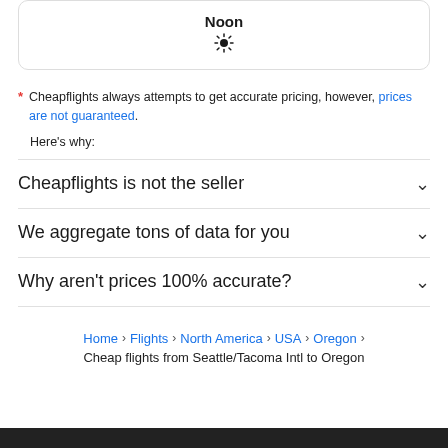[Figure (other): Card with 'Noon' label and sun icon, partially visible at top of page]
* Cheapflights always attempts to get accurate pricing, however, prices are not guaranteed.
Here's why:
Cheapflights is not the seller
We aggregate tons of data for you
Why aren't prices 100% accurate?
Home > Flights > North America > USA > Oregon > Cheap flights from Seattle/Tacoma Intl to Oregon